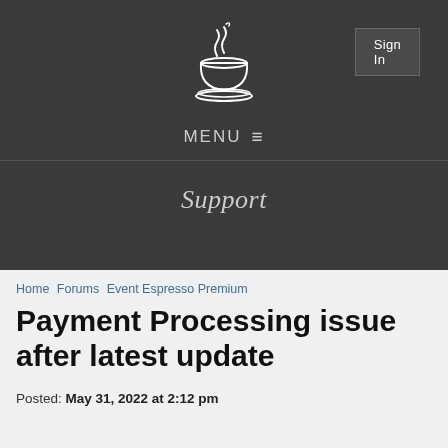Sign In
[Figure (logo): Event Espresso coffee cup logo in white on dark background]
MENU ☰
Support
Home   Forums   Event Espresso Premium
Payment Processing issue after latest update
Posted: May 31, 2022 at 2:12 pm